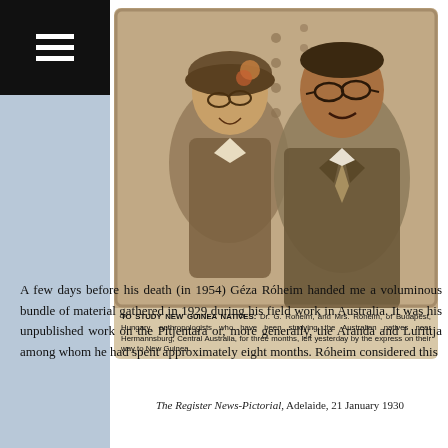[Figure (photo): Black and white newspaper photograph of Dr. G. Roheim and Mrs. Roheim, a couple posed together, with an embedded caption reading: TO STUDY NEW GUINEA NATIVES: Dr. G. Roheim, and Mrs. Roheim, of Budapest, Hungary, anthropologists who have been studying the Australian natives near Hermannsburg, Central Australia, for three months, left yesterday by the express on their way to New Guinea.]
The Register News-Pictorial, Adelaide, 21 January 1930
A few days before his death (in 1954) Géza Róheim handed me a voluminous bundle of material gathered in 1929 during his field work in Australia. It was his unpublished work on the Pitjentara or, more generally, the Aranda and Lurittja among whom he had spent approximately eight months. Róheim considered this